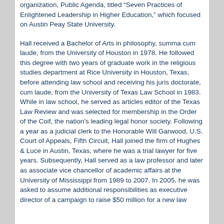organization, Public Agenda, titled "Seven Practices of Enlightened Leadership in Higher Education," which focused on Austin Peay State University.
Hall received a Bachelor of Arts in philosophy, summa cum laude, from the University of Houston in 1978. He followed this degree with two years of graduate work in the religious studies department at Rice University in Houston, Texas, before attending law school and receiving his juris doctorate, cum laude, from the University of Texas Law School in 1983. While in law school, he served as articles editor of the Texas Law Review and was selected for membership in the Order of the Coif, the nation's leading legal honor society. Following a year as a judicial clerk to the Honorable Will Garwood, U.S. Court of Appeals, Fifth Circuit, Hall joined the firm of Hughes & Luce in Austin, Texas, where he was a trial lawyer for five years. Subsequently, Hall served as a law professor and later as associate vice chancellor of academic affairs at the University of Mississippi from 1989 to 2007. In 2005, he was asked to assume additional responsibilities as executive director of a campaign to raise $50 million for a new law